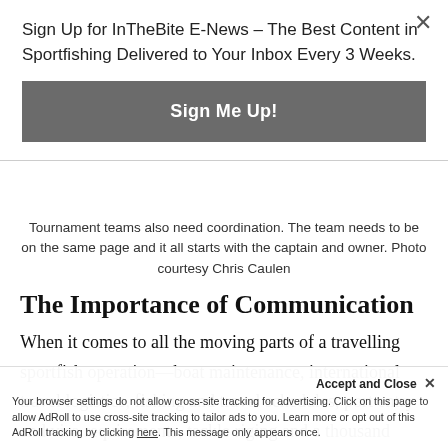Sign Up for InTheBite E-News – The Best Content in Sportfishing Delivered to Your Inbox Every 3 Weeks.
Sign Me Up!
Tournament teams also need coordination. The team needs to be on the same page and it all starts with the captain and owner. Photo courtesy Chris Caulen
The Importance of Communication
When it comes to all the moving parts of a travelling sportfish operation—boat maintenance, international travel logistics, fishing and travel schedules, port entry and visa requirements, tackle rigging and a thousand other details…
Accept and Close ×
Your browser settings do not allow cross-site tracking for advertising. Click on this page to allow AdRoll to use cross-site tracking to tailor ads to you. Learn more or opt out of this AdRoll tracking by clicking here. This message only appears once.